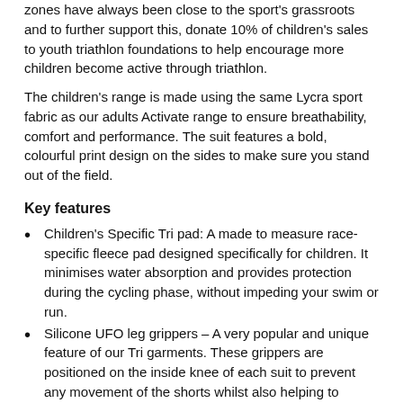zones have always been close to the sport's grassroots and to further support this, donate 10% of children's sales to youth triathlon foundations to help encourage more children become active through triathlon.
The children's range is made using the same Lycra sport fabric as our adults Activate range to ensure breathability, comfort and performance. The suit features a bold, colourful print design on the sides to make sure you stand out of the field.
Key features
Children's Specific Tri pad: A made to measure race-specific fleece pad designed specifically for children. It minimises water absorption and provides protection during the cycling phase, without impeding your swim or run.
Silicone UFO leg grippers – A very popular and unique feature of our Tri garments. These grippers are positioned on the inside knee of each suit to prevent any movement of the shorts whilst also helping to prevent irritation.
Flat locked stitching – Designed for maximum strength and minimum discomfort against the skin.